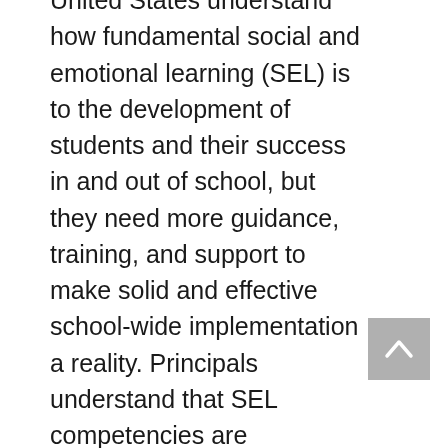United States understand how fundamental social and emotional learning (SEL) is to the development of students and their success in and out of school, but they need more guidance, training, and support to make solid and effective school-wide implementation a reality. Principals understand that SEL competencies are teachable, believe they should be developed in all students, and know that young people equipped with SEL skills will become better students now and better adults in the future. In today's environment of increasingly demanding jobs and the fraying of American